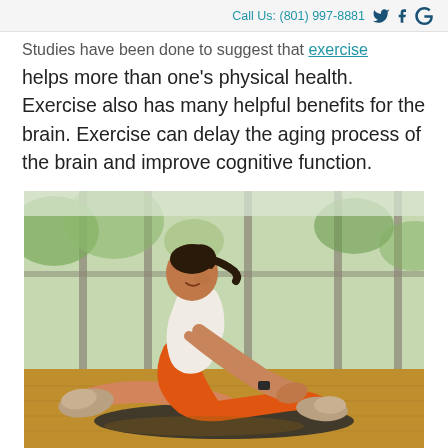Call Us: (801) 997-8881
Studies have been done to suggest that exercise helps more than one's physical health. Exercise also has many helpful benefits for the brain. Exercise can delay the aging process of the brain and improve cognitive function.
[Figure (photo): Woman in orange leggings and white tank top doing a seated forward stretch/hamstring stretch on an exercise mat in a bright gym with large windows. She is smiling and has braided hair.]